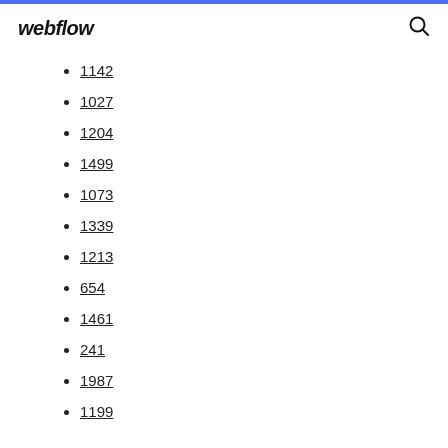webflow
1142
1027
1204
1499
1073
1339
1213
654
1461
241
1987
1199